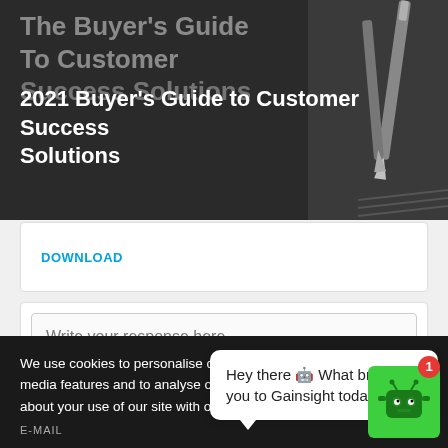[Figure (screenshot): Hero banner showing book cover for '2021 Buyer's Guide to Customer Success Solutions' with faded large text overlay and pen/pencil image on the right side on dark background]
2021 Buyer's Guide to Customer Success Solutions
DOWNLOAD
[Figure (screenshot): Text input field with placeholder text 'Write your response here...']
We use cookies to personalise content and ads, to provide social media features and to analyse our traffic. We also share information about your use of our site with our social media, advertising
E-MAIL
Hey there 🤖 What brings you to Gainsight today?